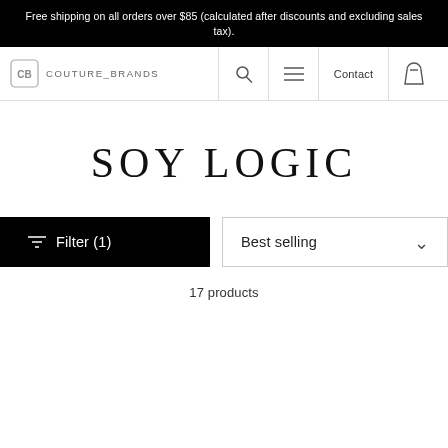Free shipping on all orders over $85 (calculated after discounts and excluding sales tax).
[Figure (logo): Couture Brands logo with CB monogram icon and text]
SOY LOGIC
Filter (1)
Best selling
17 products